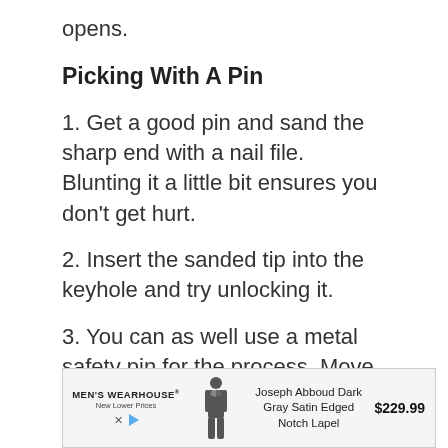opens.
Picking With A Pin
1. Get a good pin and sand the sharp end with a nail file. Blunting it a little bit ensures you don't get hurt.
2. Insert the sanded tip into the keyhole and try unlocking it.
3. You can as well use a metal safety pin for the process. Move the pin back and forth once inserted until the door unlocks.
[Figure (other): Advertisement banner for Men's Wearhouse featuring a Joseph Abboud Dark Gray Satin Edged Notch Lapel suit priced at $229.99, with a man in a suit photo, brand logo, and ad controls.]